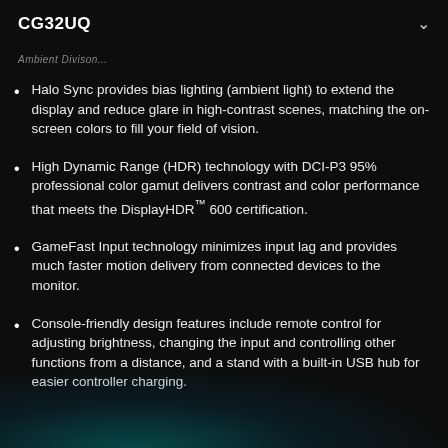CG32UQ
Ambient Divison...
Halo Sync provides bias lighting (ambient light) to extend the display and reduce glare in high-contrast scenes, matching the on-screen colors to fill your field of vision.
High Dynamic Range (HDR) technology with DCI-P3 95% professional color gamut delivers contrast and color performance that meets the DisplayHDR™ 600 certification.
GameFast Input technology minimizes input lag and provides much faster motion delivery from connected devices to the monitor.
Console-friendly design features include remote control for adjusting brightness, changing the input and controlling other functions from a distance, and a stand with a built-in USB hub for easier controller charging.